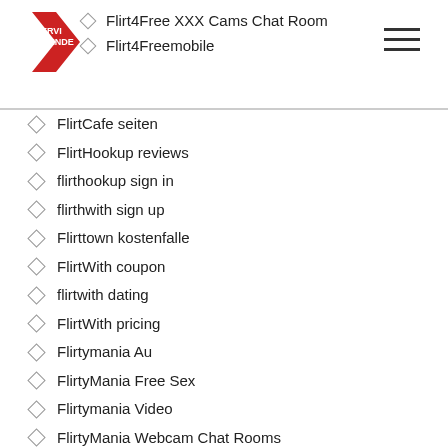SERVI ATIENDE
Flirt4Free XXX Cams Chat Room
Flirt4Freemobile
FlirtCafe seiten
FlirtHookup reviews
flirthookup sign in
flirthwith sign up
Flirttown kostenfalle
FlirtWith coupon
flirtwith dating
FlirtWith pricing
Flirtymania Au
FlirtyMania Free Sex
Flirtymania Video
FlirtyMania Webcam Chat Rooms
FlirtyMania XXX Cam Chat
Flirtyslapper mobile site
florida car title loans and payday loans
florida cash title loans